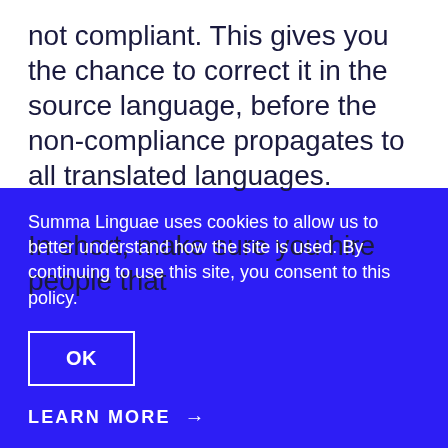not compliant. This gives you the chance to correct it in the source language, before the non-compliance propagates to all translated languages.

In short, make sure you hire people that
Summa Linguae uses cookies to allow us to better understand how the site is used. By continuing to use this site, you consent to this policy.
OK
LEARN MORE →